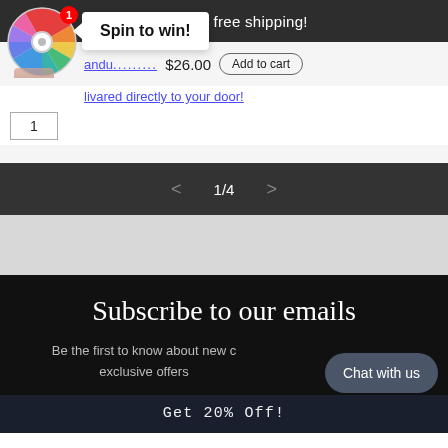Spend $50 to get free shipping!
[Figure (illustration): Colorful spin-to-win prize wheel with red notification badge showing '1']
Spin to win!
andu... $26.00 Add to cart
livared directly to your door!
1
1/4
Subscribe to our emails
Be the first to know about new c exclusive offers
Chat with us
Get 20% Off!